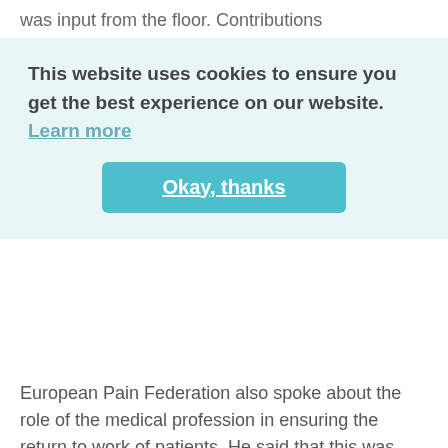was input from the floor. Contributions
This website uses cookies to ensure you get the best experience on our website. Learn more
Okay, thanks
European Pain Federation also spoke about the role of the medical profession in ensuring the return to work of patients. He said that this was one of the work-streams of the Societal Impact of Pain Platform (SIP) and an area in which he would personally take the lead. He gave his commitment to ensuring that European pain specialists focus on return to work as a patient preferred outcome of treatment.